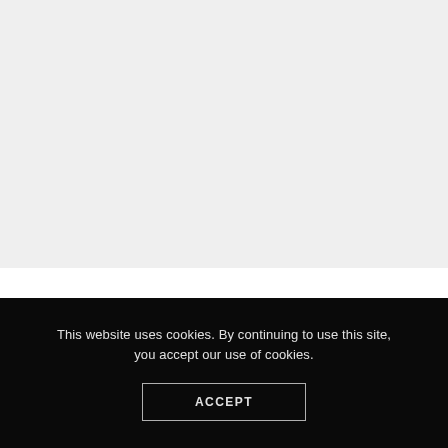[Figure (other): Light gray background area occupying the top portion of the page]
This website uses cookies. By continuing to use this site, you accept our use of cookies.
ACCEPT